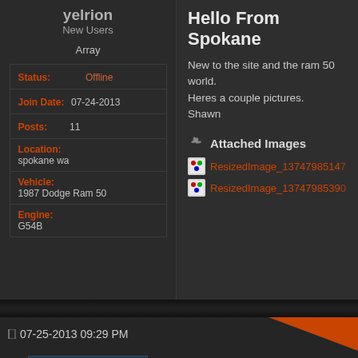yelrion
New Users
Array
| Status: | Offline |
| Join Date: | 07-24-2013 |
| Posts: | 11 |
| Location: | spokane wa |
| Vehicle: | 1987 Dodge Ram 50 |
| Engine: | G54B |
Hello From Spokane
New to the site and the ram 50 world.
Heres a couple pictures.
Shawn
Attached Images
ResizedImage_1374798514...
ResizedImage_1374798539...
07-25-2013 09:29 PM
[Figure (photo): Thumbnail photo of a vehicle or truck part, appears to show a light bar]
The light bar is cool! Now I want one!
Can you tell if it is OEM or is there an...